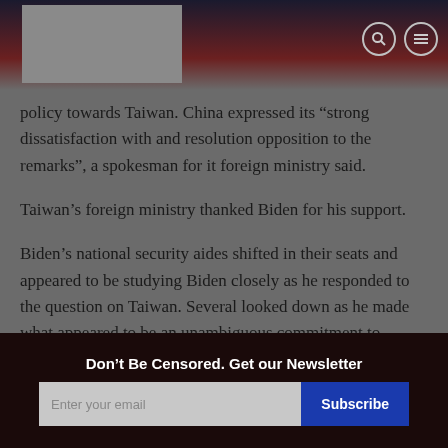[Navigation header with logo, search and menu icons]
policy towards Taiwan. China expressed its “strong dissatisfaction with and resolution opposition to the remarks”, a spokesman for it foreign ministry said.
Taiwan’s foreign ministry thanked Biden for his support.
Biden’s national security aides shifted in their seats and appeared to be studying Biden closely as he responded to the question on Taiwan. Several looked down as he made what appeared to be an unambiguous commitment to Taiwan’s defense.
Don’t Be Censored. Get our Newsletter | Enter your email | Subscribe